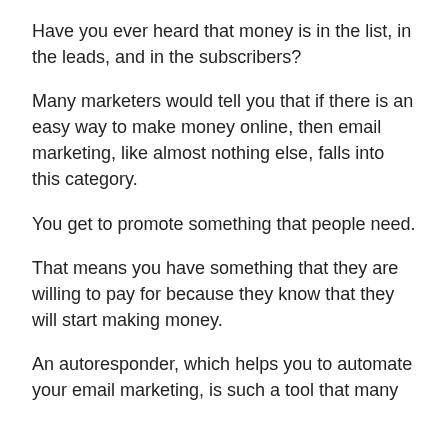Have you ever heard that money is in the list, in the leads, and in the subscribers?
Many marketers would tell you that if there is an easy way to make money online, then email marketing, like almost nothing else, falls into this category.
You get to promote something that people need.
That means you have something that they are willing to pay for because they know that they will start making money.
An autoresponder, which helps you to automate your email marketing, is such a tool that many